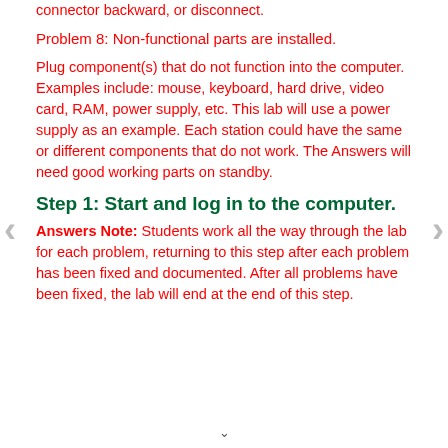connector backward, or disconnect.
Problem 8: Non-functional parts are installed.
Plug component(s) that do not function into the computer. Examples include: mouse, keyboard, hard drive, video card, RAM, power supply, etc. This lab will use a power supply as an example. Each station could have the same or different components that do not work. The Answers will need good working parts on standby.
Step 1: Start and log in to the computer.
Answers Note: Students work all the way through the lab for each problem, returning to this step after each problem has been fixed and documented. After all problems have been fixed, the lab will end at the end of this step.